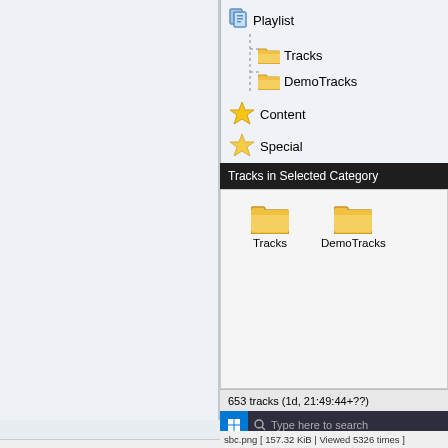[Figure (screenshot): Windows application screenshot showing a file/playlist browser with a tree view on the right panel. Tree shows: Playlist (document icon), Tracks (folder), DemoTracks (folder), Content (star icon), Special (star icon). Below a dark header bar 'Tracks in Selected Category' are two folder icons labeled Tracks and DemoTracks. Status bar shows '653 tracks (1d, 21:49:44+??)'. Windows taskbar at bottom with search bar 'Type here to search'. Image viewer footer: 'sbc.png [ 157.32 KiB | Viewed 5326 times ]']